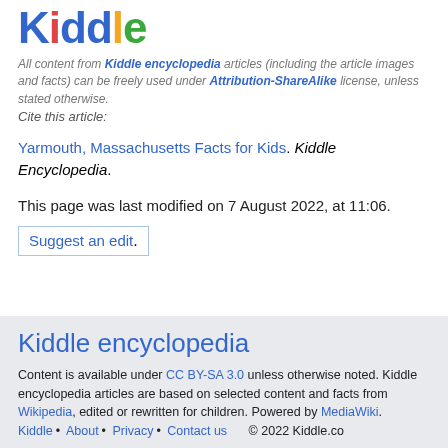[Figure (logo): Kiddle logo with colorful letters]
All content from Kiddle encyclopedia articles (including the article images and facts) can be freely used under Attribution-ShareAlike license, unless stated otherwise. Cite this article:
Yarmouth, Massachusetts Facts for Kids. Kiddle Encyclopedia.
This page was last modified on 7 August 2022, at 11:06.
Suggest an edit.
Kiddle encyclopedia
Content is available under CC BY-SA 3.0 unless otherwise noted. Kiddle encyclopedia articles are based on selected content and facts from Wikipedia, edited or rewritten for children. Powered by MediaWiki.
Kiddle • About • Privacy • Contact us    © 2022 Kiddle.co